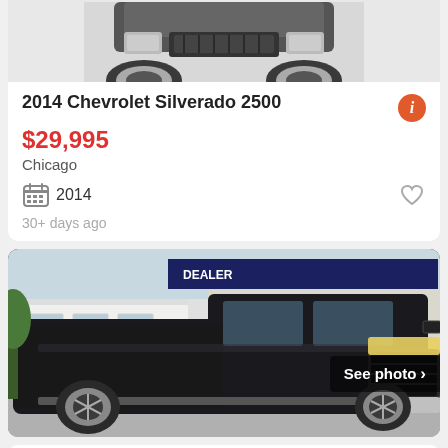[Figure (photo): Partial front view of a 2014 Chevrolet Silverado 2500, gray truck, cropped at top]
2014 Chevrolet Silverado 2500
$29,995
Chicago
2014
30+ days ago
[Figure (photo): Black 2013 Chevrolet Silverado 3500 4x4 Crew Cab LTZ truck parked at a dealership lot, See photo button visible]
2013 Chevrolet Silverado 3500 4x4 Crew Cab LTZ